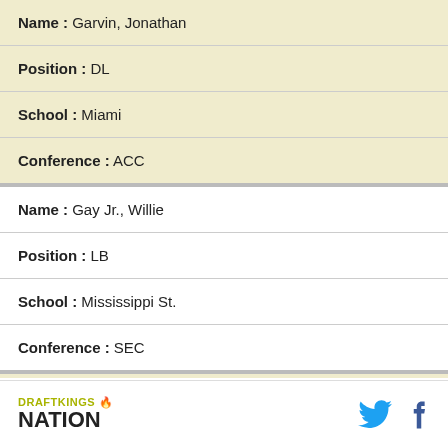| Name : Garvin, Jonathan |
| Position : DL |
| School : Miami |
| Conference : ACC |
| Name : Gay Jr., Willie |
| Position : LB |
| School : Mississippi St. |
| Conference : SEC |
| Name : Gipson, Trevis |
| Position : DL |
DRAFTKINGS NATION